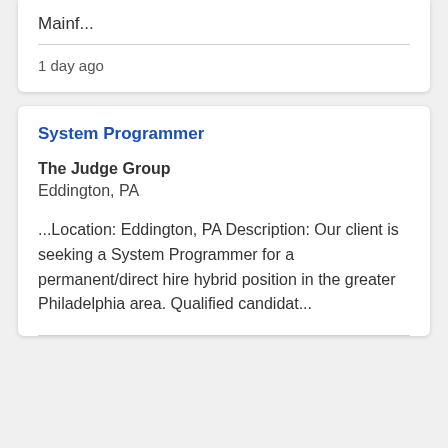Mainf...
1 day ago
System Programmer
The Judge Group
Eddington, PA
...Location: Eddington, PA Description: Our client is seeking a System Programmer for a permanent/direct hire hybrid position in the greater Philadelphia area. Qualified candidat...